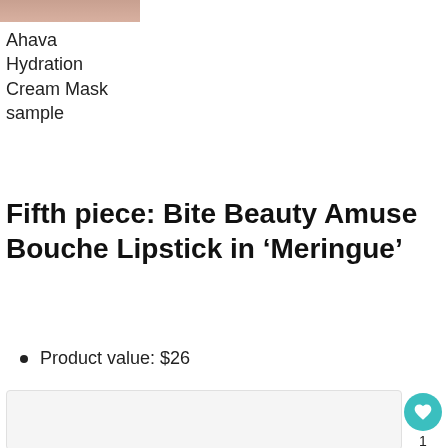[Figure (photo): Partial product image at top of page]
Ahava Hydration Cream Mask sample
Fifth piece: Bite Beauty Amuse Bouche Lipstick in ‘Meringue’
Product value: $26
[Figure (photo): Product image placeholder, light gray background]